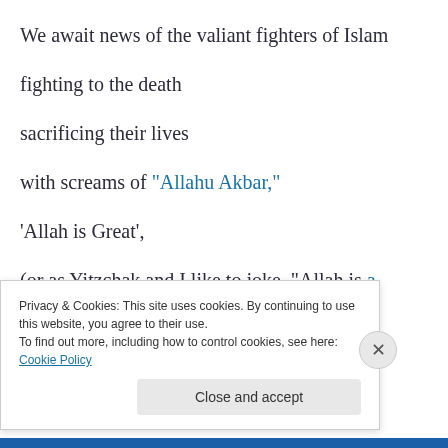We await news of the valiant fighters of Islam
fighting to the death
sacrificing their lives
with screams of “Allahu Akbar,”
‘Allah is Great’,
(or as Yitzchak and I like to joke, “Allah is a mouse,”)
may you die deaths of honor on the battlefield
Privacy & Cookies: This site uses cookies. By continuing to use this website, you agree to their use.
To find out more, including how to control cookies, see here: Cookie Policy